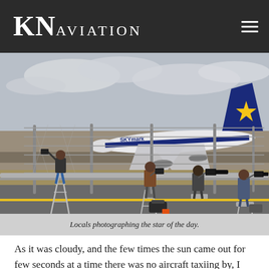KN AVIATION
[Figure (photo): Photographers standing on ladders and stools beside an airport perimeter fence photographing a Skymark Airlines aircraft (Airbus A330 with blue/yellow star livery) taxiing on the runway. Four people are visible with cameras and telephoto lenses, with camera bags on the ground.]
Locals photographing the star of the day.
As it was cloudy, and the few times the sun came out for few seconds at a time there was no aircraft taxiing by, I